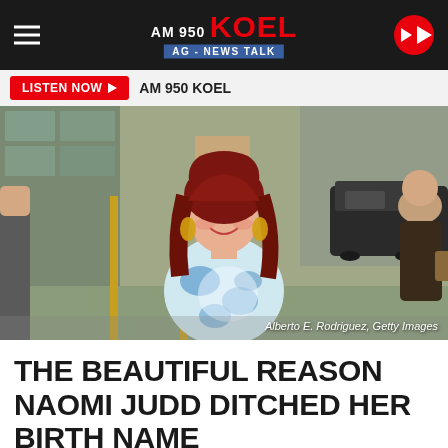AM 950 KOEL AG - NEWS TALK
LISTEN NOW ▶  AM 950 KOEL
[Figure (photo): Woman with red hair wearing a blue and white floral dress, smiling in front of a building entrance with vehicles and another person visible in background. Photo credit: Alberto E. Rodriguez, Getty Images]
Alberto E. Rodriguez, Getty Images
THE BEAUTIFUL REASON NAOMI JUDD DITCHED HER BIRTH NAME